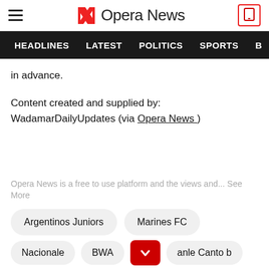Opera News
HEADLINES  LATEST  POLITICS  SPORTS  B
in advance.
Content created and supplied by: WadamarDailyUpdates (via Opera News )
Opera News is a free to use platform and the views and... See More
Argentinos Juniors
Marines FC
Nacionale
BWA
anle Canto b